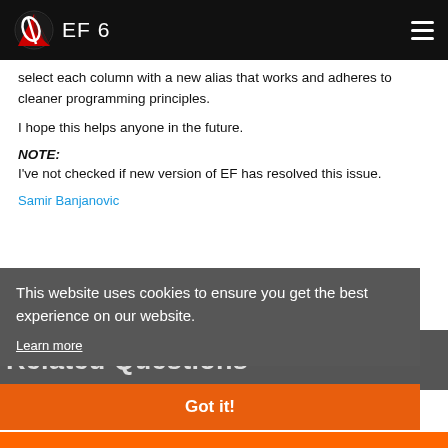EF 6
select each column with a new alias that works and adheres to cleaner programming principles.
I hope this helps anyone in the future.
NOTE:
I've not checked if new version of EF has resolved this issue.
Samir Banjanovic
This website uses cookies to ensure you get the best experience on our website.
Learn more
Related Questions
Got it!